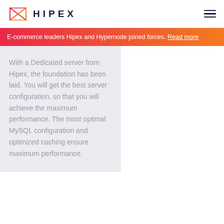HIPEX
E-commerce leaders Hipex and Hypernode joined forces. Read more
With a Dedicated server from Hipex, the foundation has been laid. You will get the best server configuration, so that you will achieve the maximum performance. The most optimal MySQL configuration and optimized caching ensure maximum performance.